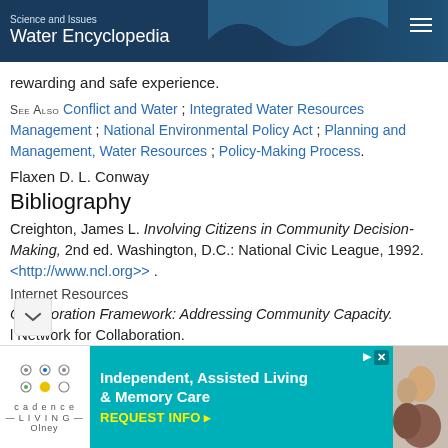Science and Issues Water Encyclopedia
rewarding and safe experience.
SEE ALSO Conflict and Water ; Integrated Water Resources Management ; National Environmental Policy Act ; Planning and Management, Water Resources ; Policy-Making Process.
Flaxen D. L. Conway
Bibliography
Creighton, James L. Involving Citizens in Community Decision-Making, 2nd ed. Washington, D.C.: National Civic League, 1992. <http://www.ncl.org>> .
Internet Resources
Collaboration Framework: Addressing Community Capacity. National Network for Collaboration.
[Figure (photo): Advertisement for Cadence Living (Olney) Independent, Assisted Living & Memory Care with REQUEST INFO call to action and photo of elderly people]